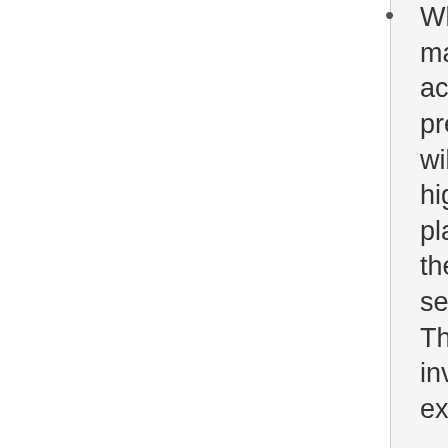When you maintain an active Google+ presence you will likely see a higher placement in the Google search results. This can be invaluable for exposure.